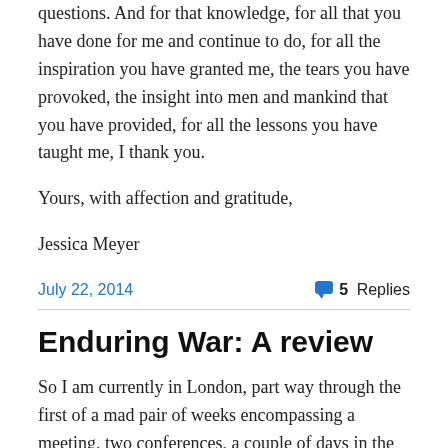questions. And for that knowledge, for all that you have done for me and continue to do, for all the inspiration you have granted me, the tears you have provoked, the insight into men and mankind that you have provided, for all the lessons you have taught me, I thank you.
Yours, with affection and gratitude,
Jessica Meyer
July 22, 2014
5 Replies
Enduring War: A review
So I am currently in London, part way through the first of a mad pair of weeks encompassing a meeting, two conferences, a couple of days in the archives and two